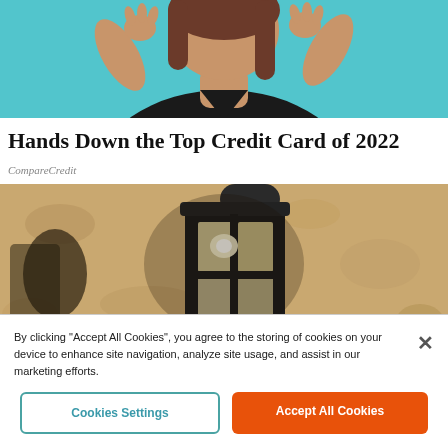[Figure (photo): Cropped photo of a woman in a black top against a teal background, holding something with both hands raised near her face]
Hands Down the Top Credit Card of 2022
CompareCredit
[Figure (photo): Close-up photo of a black outdoor lantern wall light mounted on a textured stone or stucco wall]
By clicking "Accept All Cookies", you agree to the storing of cookies on your device to enhance site navigation, analyze site usage, and assist in our marketing efforts.
Cookies Settings
Accept All Cookies